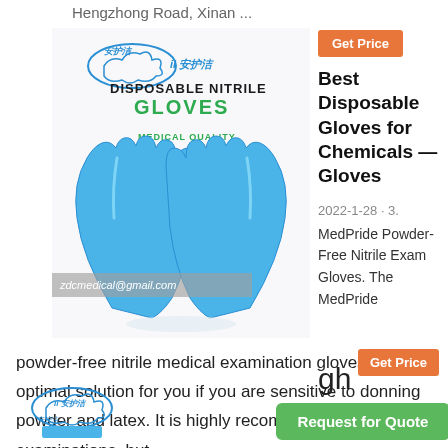Hengzhong Road, Xinan ...
[Figure (photo): Product image of disposable nitrile gloves with text 'DISPOSABLE NITRILE GLOVES' and 'MEDICAL QUALITY', showing blue nitrile gloves raised upward, with watermark 'zdcmedical@gmail.com']
Best Disposable Gloves for Chemicals — Gloves
2022-1-28 · 3. MedPride Powder-Free Nitrile Exam Gloves. The MedPride powder-free nitrile medical examination gloves are the optimal solution for you if you are sensitive to donning powder and latex. It is highly recommended in medical examinations, but ...
[Figure (logo): Chinese brand logo for nitrile gloves product, partial view]
gh
Get Price
Request for Quote